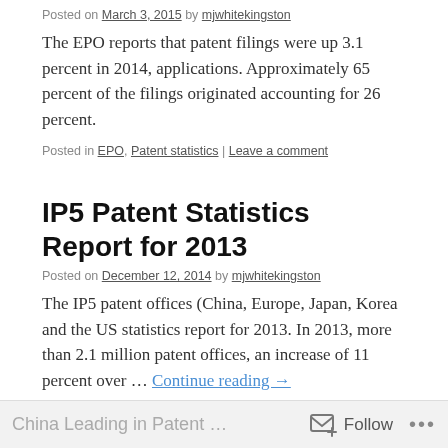Posted on March 3, 2015 by mjwhitekingston
The EPO reports that patent filings were up 3.1 percent in 2014, applications. Approximately 65 percent of the filings originated accounting for 26 percent.
Posted in EPO, Patent statistics | Leave a comment
IP5 Patent Statistics Report for 2013
Posted on December 12, 2014 by mjwhitekingston
The IP5 patent offices (China, Europe, Japan, Korea and the US statistics report for 2013. In 2013, more than 2.1 million patent offices, an increase of 11 percent over … Continue reading →
Posted in EPO, IP5, JPO, KIPO, Patent statistics, SIPO, USPTO | Leave a c…
China Leading in Patent … Follow …